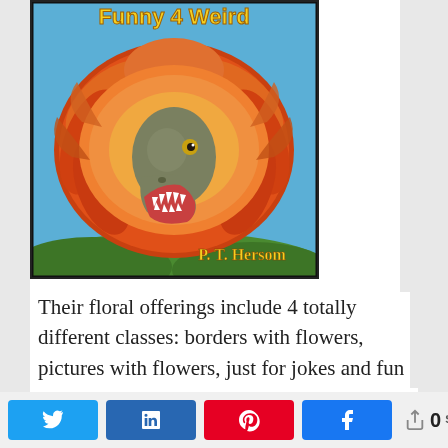[Figure (illustration): Book cover illustration showing a dinosaur (T-Rex-like) with large orange and red feathered/floral collar/frill, open mouth with teeth visible, set against a blue sky background. Title text at top reads 'Funny 4 Weird' in yellow/orange. Author text at bottom reads 'P. T. Hersom'.]
Their floral offerings include 4 totally different classes: borders with flowers, pictures with flowers, just for jokes and fun (linked internet sites), borders with flowers, and more...
0 SHARES